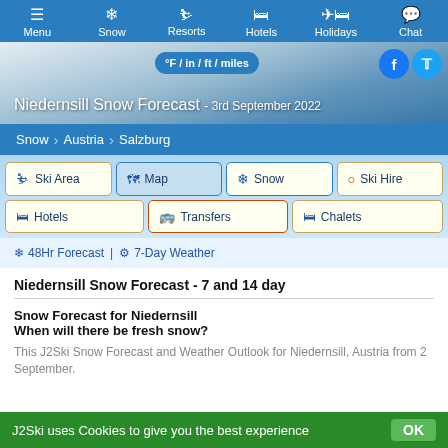Menu | Snow | Resorts | Hotels | Holidays | Chat
[Figure (screenshot): Hero image of snowy mountain landscape with Niedernsill Snow Forecast title, °F/in/ft/miles toggle, Facebook and Twitter icons]
Niedernsill Snow Forecast - 3rd September 2022
Snow > Austria > Salzburg
Ski Area
Map
Snow
Ski Hire
Hotels
Transfers
Chalets
❄ 48Hr Forecast | ⚙ 7-Day Weather
Niedernsill Snow Forecast - 7 and 14 day
Snow Forecast for Niedernsill
When will there be fresh snow?
This J2Ski Snow Forecast and Weather Outlook for Niedernsill, Austria from 2 September.
J2Ski uses Cookies to give you the best experience OK